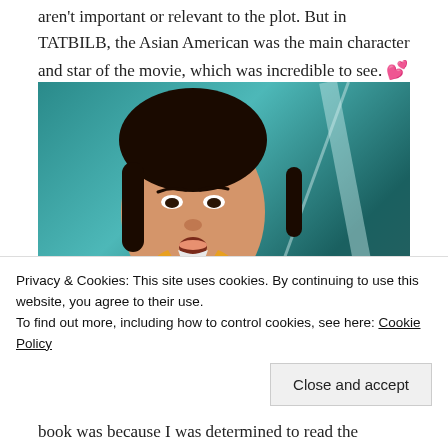aren't important or relevant to the plot. But in TATBILB, the Asian American was the main character and star of the movie, which was incredible to see. 💕
[Figure (photo): A young Asian woman with a surprised or concerned expression, wearing a yellow jacket, against a teal/turquoise background.]
Privacy & Cookies: This site uses cookies. By continuing to use this website, you agree to their use. To find out more, including how to control cookies, see here: Cookie Policy
book was because I was determined to read the